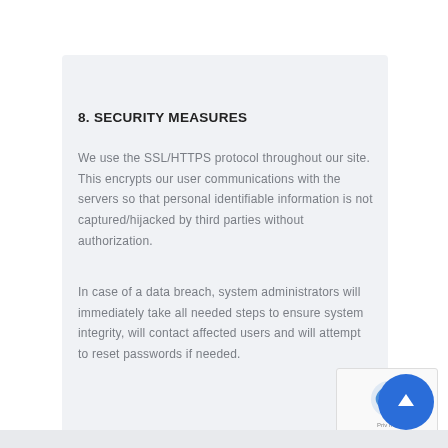8. SECURITY MEASURES
We use the SSL/HTTPS protocol throughout our site. This encrypts our user communications with the servers so that personal identifiable information is not captured/hijacked by third parties without authorization.
In case of a data breach, system administrators will immediately take all needed steps to ensure system integrity, will contact affected users and will attempt to reset passwords if needed.